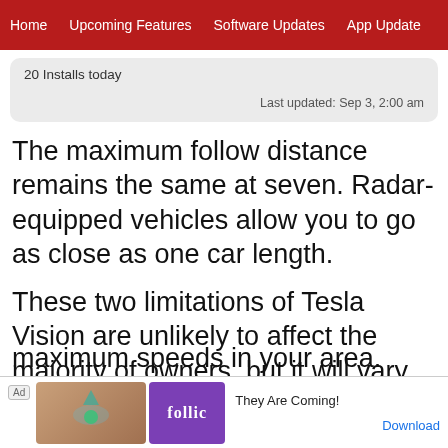Home  Upcoming Features  Software Updates  App Update
20 Installs today
Last updated: Sep 3, 2:00 am
The maximum follow distance remains the same at seven. Radar-equipped vehicles allow you to go as close as one car length.
These two limitations of Tesla Vision are unlikely to affect the majority of owners, but it will vary on location and the maximum speeds in your area.
[Figure (screenshot): Ad banner for Follic app: 'They Are Coming!' with Download button]